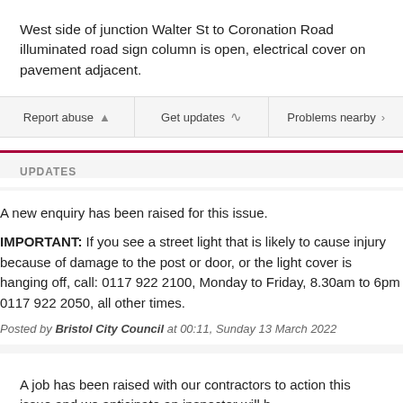West side of junction Walter St to Coronation Road illuminated road sign column is open, electrical cover on pavement adjacent.
Report abuse
Get updates
Problems nearby
UPDATES
A new enquiry has been raised for this issue.
IMPORTANT: If you see a street light that is likely to cause injury because of damage to the post or door, or the light cover is hanging off, call: 0117 922 2100, Monday to Friday, 8.30am to 6pm 0117 922 2050, all other times.
Posted by Bristol City Council at 00:11, Sunday 13 March 2022
A job has been raised with our contractors to action this issue and we anticipate an inspector will b...